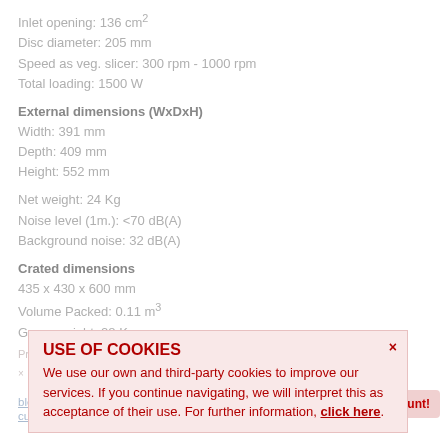Inlet opening: 136 cm²
Disc diameter: 205 mm
Speed as veg. slicer: 300 rpm - 1000 rpm
Total loading: 1500 W
External dimensions (WxDxH)
Width: 391 mm
Depth: 409 mm
Height: 552 mm
Net weight: 24 Kg
Noise level (1m.): <70 dB(A)
Background noise: 32 dB(A)
Crated dimensions
435 x 430 x 600 mm
Volume Packed: 0.11 m³
Gross weight: 28 Kg
USE OF COOKIES
We use our own and third-party cookies to improve our services. If you continue navigating, we will interpret this as acceptance of their use. For further information, click here.